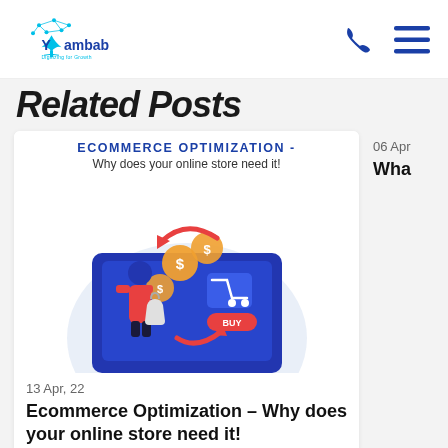[Figure (logo): Yambab logo with network/tree icon and tagline 'Digitizing for Growth']
Related Posts
[Figure (illustration): Ecommerce Optimization illustration: person with shopping bag, dollar coins, cart, buy button on a blue device screen with arrows]
13 Apr, 22
Ecommerce Optimization – Why does your online store need it!
06 Apr
Wha...